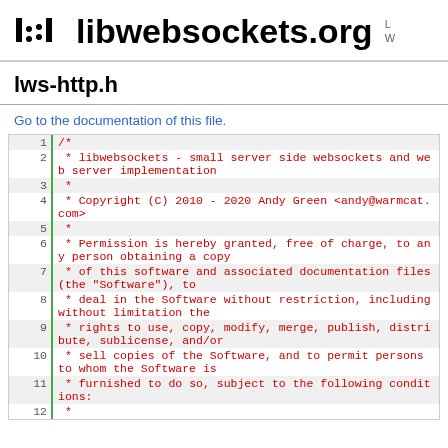libwebsockets.org
lws-http.h
Go to the documentation of this file.
1 /*
2  * libwebsockets - small server side websockets and web server implementation
3  *
4  * Copyright (C) 2010 - 2020 Andy Green <andy@warmcat.com>
5  *
6  * Permission is hereby granted, free of charge, to any person obtaining a copy
7  * of this software and associated documentation files (the "Software"), to
8  * deal in the Software without restriction, including without limitation the
9  * rights to use, copy, modify, merge, publish, distribute, sublicense, and/or
10  * sell copies of the Software, and to permit persons to whom the Software is
11  * furnished to do so, subject to the following conditions:
12  *